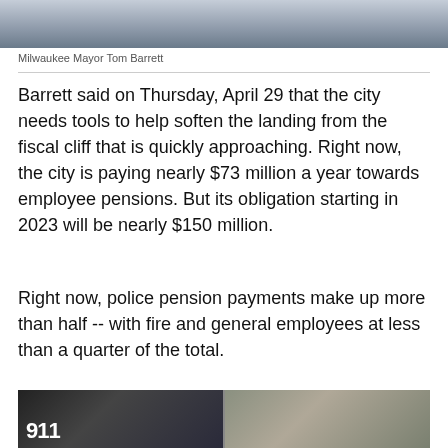[Figure (photo): Top portion of a photo showing Milwaukee Mayor Tom Barrett in a blue suit]
Milwaukee Mayor Tom Barrett
Barrett said on Thursday, April 29 that the city needs tools to help soften the landing from the fiscal cliff that is quickly approaching. Right now, the city is paying nearly $73 million a year towards employee pensions. But its obligation starting in 2023 will be nearly $150 million.
Right now, police pension payments make up more than half -- with fire and general employees at less than a quarter of the total.
[Figure (photo): Two side-by-side photos: left showing a dark vehicle with 911 text, right showing fire trucks and emergency vehicles on a street]